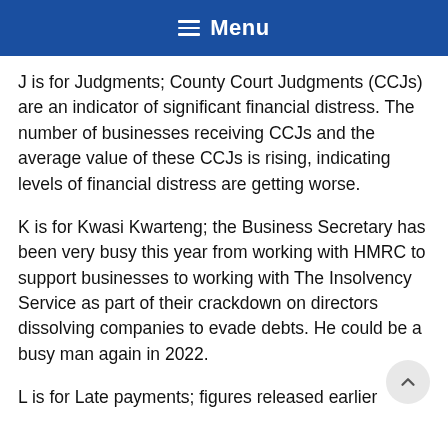≡ Menu
J is for Judgments; County Court Judgments (CCJs) are an indicator of significant financial distress. The number of businesses receiving CCJs and the average value of these CCJs is rising, indicating levels of financial distress are getting worse.
K is for Kwasi Kwarteng; the Business Secretary has been very busy this year from working with HMRC to support businesses to working with The Insolvency Service as part of their crackdown on directors dissolving companies to evade debts. He could be a busy man again in 2022.
L is for Late payments; figures released earlier